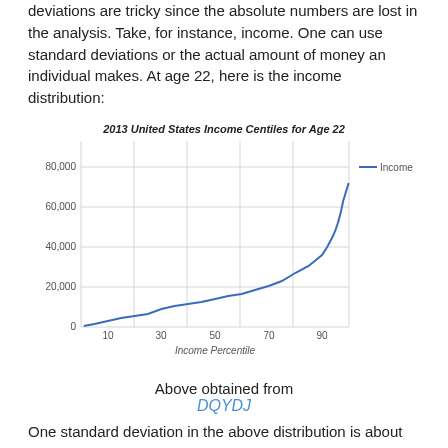deviations are tricky since the absolute numbers are lost in the analysis. Take, for instance, income. One can use standard deviations or the actual amount of money an individual makes. At age 22, here is the income distribution:
[Figure (continuous-plot): A continuous curve showing US income distribution by percentile for age 22. The curve starts near 0 at the 1st percentile, rises gradually through the middle percentiles (reaching ~15,000-20,000 at the 50th percentile), then rises steeply in the upper percentiles, reaching approximately 72,000 at the 99th percentile. Legend shows 'Income' in blue.]
Above obtained from
DQYDJ
One standard deviation in the above distribution is about $5,000. Here is the income distribution at age 31: